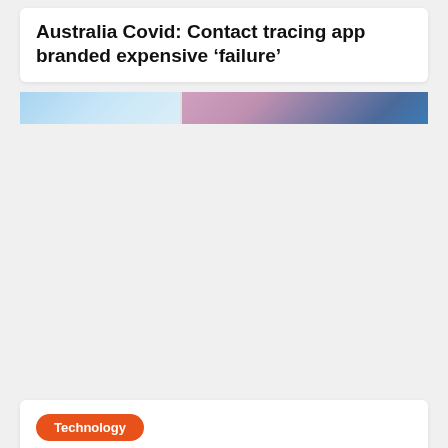Australia Covid: Contact tracing app branded expensive 'failure'
[Figure (photo): Partial photo strip showing a close-up of a person's hands against a light blue and purple/blue background]
Technology
The cost of Amazon Prime increased by £1 per month